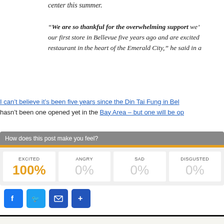center this summer.
“We are so thankful for the overwhelming support we’ve received since opening our first store in Bellevue five years ago and are excited to open a new restaurant in the heart of the Emerald City,” he said in a
I can’t believe it’s been five years since the Din Tai Fung in Bel hasn’t been one opened yet in the Bay Area – but one will be op
[Figure (infographic): How does this post make you feel? widget showing EXCITED 100%, ANGRY 0%, SAD 0%, DISGUSTED 0%]
[Figure (infographic): Social sharing buttons: Facebook, Twitter, Email, More]